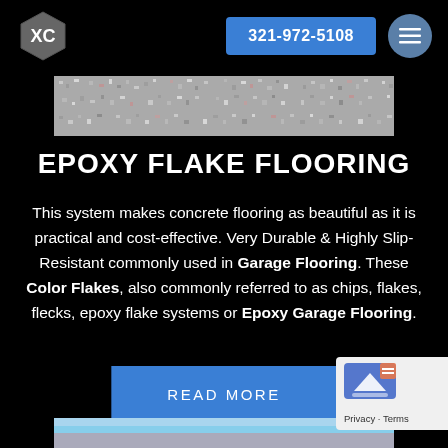321-972-5108
[Figure (photo): Close-up photo of epoxy flake flooring showing colorful chips and flakes embedded in epoxy surface]
EPOXY FLAKE FLOORING
This system makes concrete flooring as beautiful as it is practical and cost-effective. Very Durable & Highly Slip-Resistant commonly used in Garage Flooring. These Color Flakes, also commonly referred to as chips, flakes, flecks, epoxy flake systems or Epoxy Garage Flooring.
READ MORE
[Figure (photo): Bottom partial image showing epoxy flooring or exterior surface]